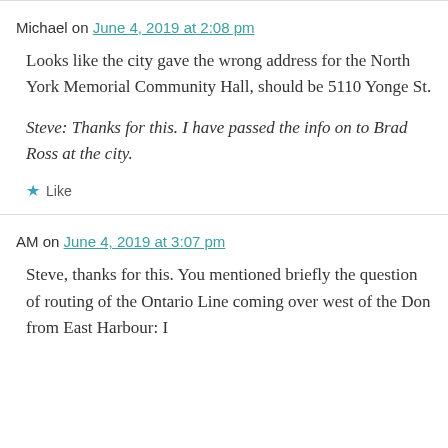Michael on June 4, 2019 at 2:08 pm
Looks like the city gave the wrong address for the North York Memorial Community Hall, should be 5110 Yonge St.
Steve: Thanks for this. I have passed the info on to Brad Ross at the city.
★ Like
AM on June 4, 2019 at 3:07 pm
Steve, thanks for this. You mentioned briefly the question of routing of the Ontario Line coming over west of the Don from East Harbour: I